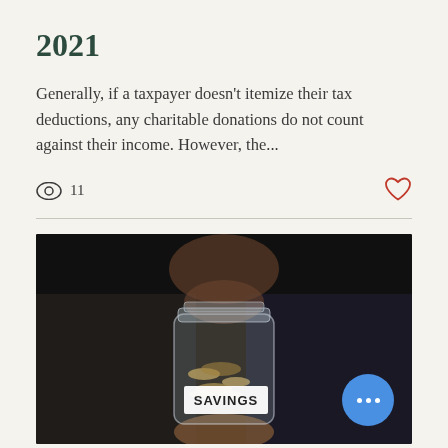2021
Generally, if a taxpayer doesn't itemize their tax deductions, any charitable donations do not count against their income. However, the...
[Figure (photo): Person holding a glass jar labeled 'SAVINGS' filled with coins, photographed against a dark blurred background]